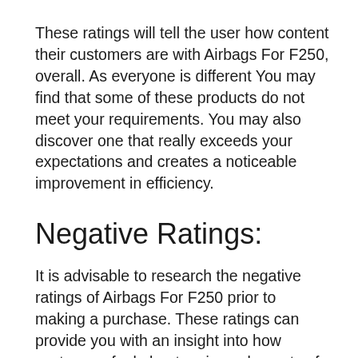These ratings will tell the user how content their customers are with Airbags For F250, overall. As everyone is different You may find that some of these products do not meet your requirements. You may also discover one that really exceeds your expectations and creates a noticeable improvement in efficiency.
Negative Ratings:
It is advisable to research the negative ratings of Airbags For F250 prior to making a purchase. These ratings can provide you with an insight into how customers feel about various elements of the experience they had with the firm.